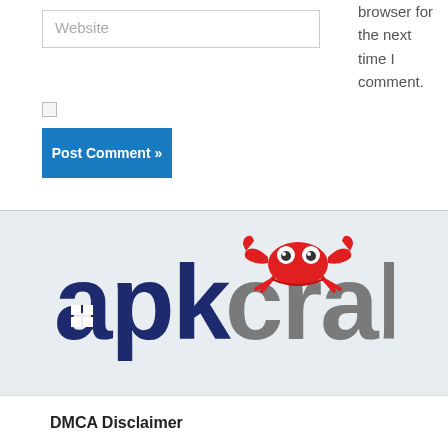Website
browser for the next time I comment.
Post Comment »
[Figure (logo): APKCrab logo: dark navy blue text 'apk' with a Windows-style grid icon inside the 'a', followed by gray text 'crab' with a red cartoon crab sitting on top of the letters]
DMCA Disclaimer